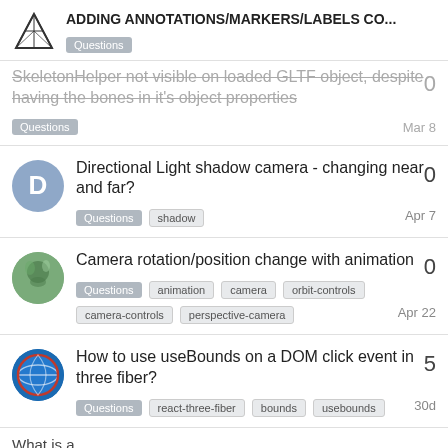ADDING ANNOTATIONS/MARKERS/LABELS CO...
SkeletonHelper not visible on loaded GLTF object, despite having the bones in it's object properties
Directional Light shadow camera - changing near and far?
Camera rotation/position change with animation
How to use useBounds on a DOM click event in three fiber?
What is a ...